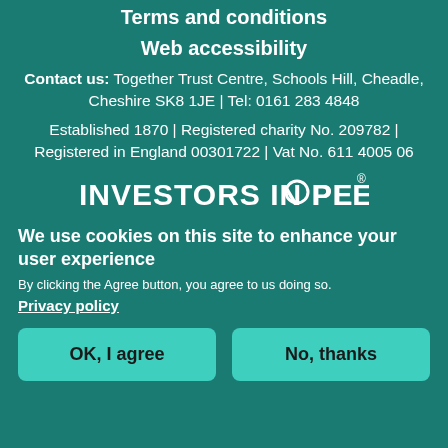Terms and conditions
Web accessibility
Contact us: Together Trust Centre, Schools Hill, Cheadle, Cheshire SK8 1JE | Tel: 0161 283 4848
Established 1870 | Registered charity No. 209782 | Registered in England 00301722 | Vat No. 611 4005 06
[Figure (logo): Investors in People logo with circle replacing the O in PEOPLE and a registered trademark symbol]
We use cookies on this site to enhance your user experience
By clicking the Agree button, you agree to us doing so.
Privacy policy
OK, I agree
No, thanks